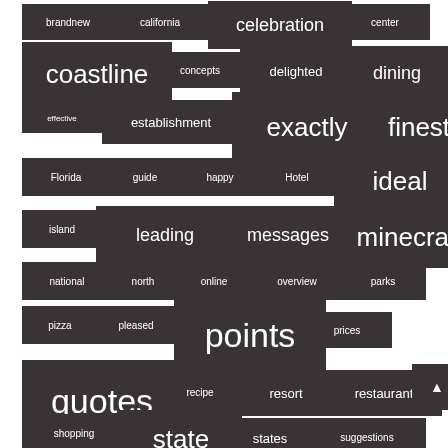[Figure (infographic): Word cloud / tag cloud with dark rounded rectangles containing white text. Words vary in font size indicating frequency/weight. Words include: brandnew, california, celebration, center, coastline, concepts, delighted, dining, effective, establishment, exactly, finest, Florida, guide, happy, Hotel, ideal, island, leading, messages, minecraft, national, north, online, overview, parks, pizza, pleased, points, prices, quotes, recipe, resort, restaurant, shopping, state, states, suggestions, things (partial)]